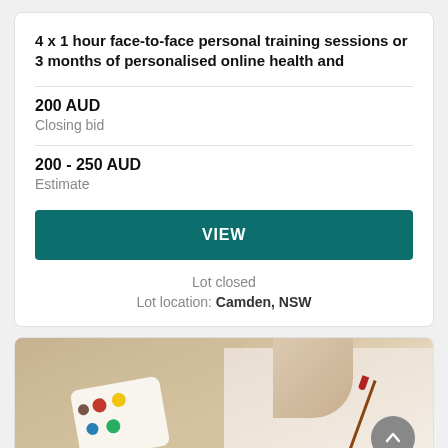4 x 1 hour face-to-face personal training sessions or 3 months of personalised online health and
200 AUD
Closing bid
200 - 250 AUD
Estimate
VIEW
Lot closed
Lot location: Camden, NSW
[Figure (photo): Person in apron holding a paint palette with colorful paints and a paintbrush, painting activity scene]